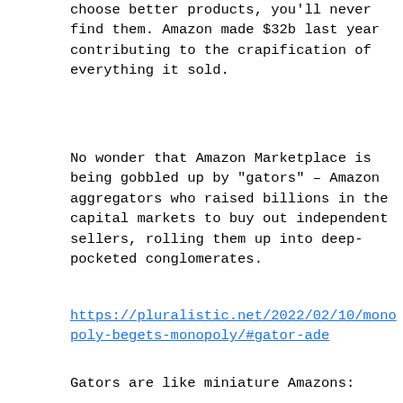choose better products, you'll never find them. Amazon made $32b last year contributing to the crapification of everything it sold.
No wonder that Amazon Marketplace is being gobbled up by "gators" – Amazon aggregators who raised billions in the capital markets to buy out independent sellers, rolling them up into deep-pocketed conglomerates.
https://pluralistic.net/2022/02/10/monopoly-begets-monopoly/#gator-ade
Gators are like miniature Amazons: